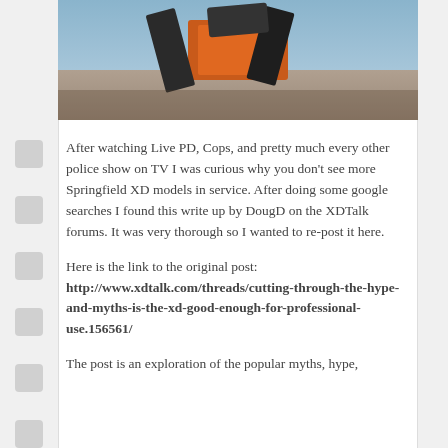[Figure (photo): Photo of Springfield XD pistol magazines and gun on a wooden surface with orange packaging visible]
After watching Live PD, Cops, and pretty much every other police show on TV I was curious why you don't see more Springfield XD models in service. After doing some google searches I found this write up by DougD on the XDTalk forums.  It was very thorough so I wanted to re-post it here.
Here is the link to the original post: http://www.xdtalk.com/threads/cutting-through-the-hype-and-myths-is-the-xd-good-enough-for-professional-use.156561/
The post is an exploration of the popular myths, hype,